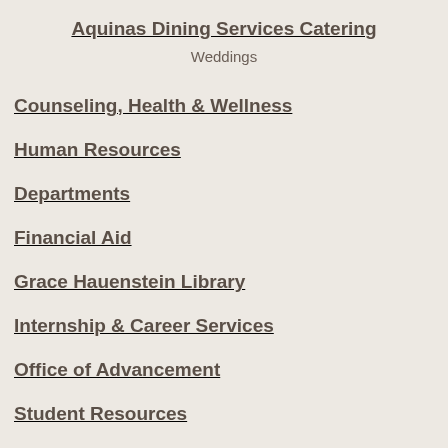Aquinas Dining Services Catering
Weddings
Counseling, Health & Wellness
Human Resources
Departments
Financial Aid
Grace Hauenstein Library
Internship & Career Services
Office of Advancement
Student Resources
Writing Center
OLLI at Aquinas